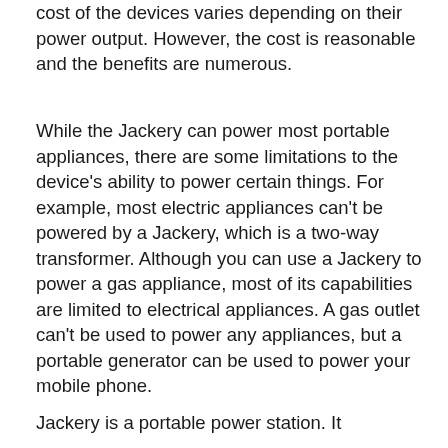cost of the devices varies depending on their power output. However, the cost is reasonable and the benefits are numerous.
While the Jackery can power most portable appliances, there are some limitations to the device's ability to power certain things. For example, most electric appliances can't be powered by a Jackery, which is a two-way transformer. Although you can use a Jackery to power a gas appliance, most of its capabilities are limited to electrical appliances. A gas outlet can't be used to power any appliances, but a portable generator can be used to power your mobile phone.
Jackery is a portable power station. It